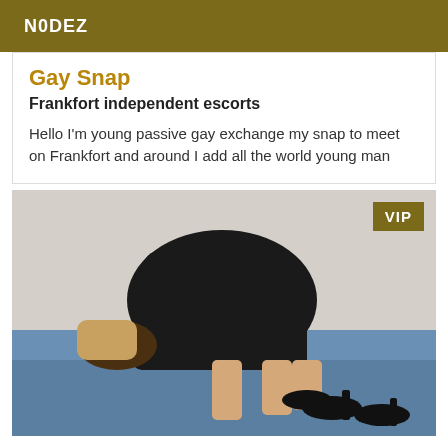N0DEZ
Gay Snap
Frankfort independent escorts
Hello I'm young passive gay exchange my snap to meet on Frankfort and around I add all the world young man
[Figure (photo): Person in black dress posing on a blue bed, wearing black high heels, photographed from behind. VIP badge in top right corner.]